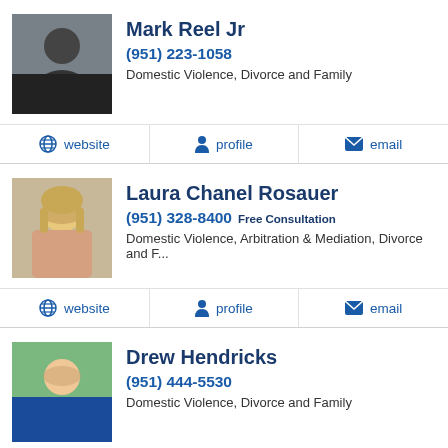[Figure (photo): Headshot of Mark Reel Jr, a man with beard wearing black shirt]
Mark Reel Jr
(951) 223-1058
Domestic Violence, Divorce and Family
website  profile  email
[Figure (photo): Headshot of Laura Chanel Rosauer, a blonde woman smiling]
Laura Chanel Rosauer
(951) 328-8400 Free Consultation
Domestic Violence, Arbitration & Mediation, Divorce and F...
website  profile  email
[Figure (photo): Headshot of Drew Hendricks, a man in a suit smiling]
Drew Hendricks
(951) 444-5530
Domestic Violence, Divorce and Family